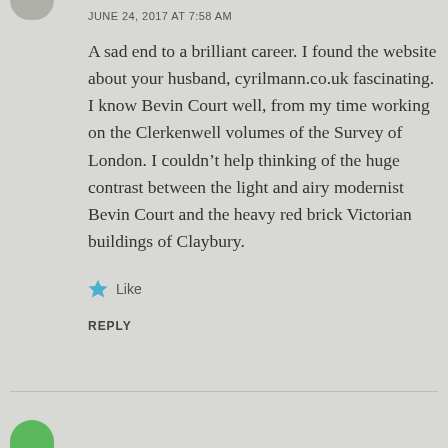JUNE 24, 2017 AT 7:58 AM
A sad end to a brilliant career. I found the website about your husband, cyrilmann.co.uk fascinating. I know Bevin Court well, from my time working on the Clerkenwell volumes of the Survey of London. I couldn't help thinking of the huge contrast between the light and airy modernist Bevin Court and the heavy red brick Victorian buildings of Claybury.
Like
REPLY